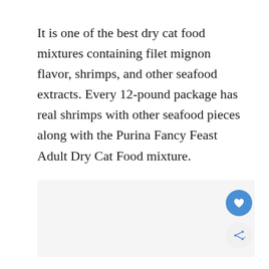It is one of the best dry cat food mixtures containing filet mignon flavor, shrimps, and other seafood extracts. Every 12-pound package has real shrimps with other seafood pieces along with the Purina Fancy Feast Adult Dry Cat Food mixture.
[Figure (other): Light gray placeholder rectangle representing an image area, with a blue heart/favorite button and a gray share button overlaid at the bottom-right corner.]